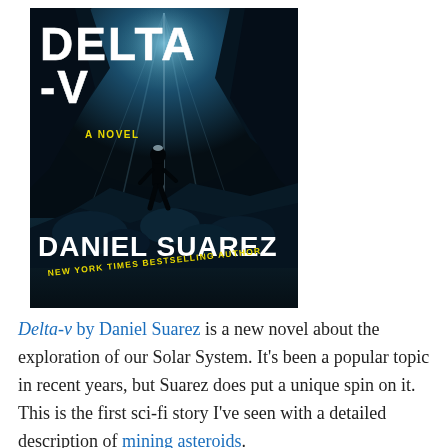[Figure (photo): Book cover of 'Delta-v' by Daniel Suarez. Dark blue-toned image of a silhouetted figure standing in a cave or rocky cavern with light streaming in. Title 'DELTA-V' in large white block letters at top, 'A NOVEL' in small yellow text mid-cover, 'DANIEL SUAREZ' in large white block letters near bottom, 'NEW YORK TIMES BESTSELLING AUTHOR' in yellow text at the very bottom.]
Delta-v by Daniel Suarez is a new novel about the exploration of our Solar System. It's been a popular topic in recent years, but Suarez does put a unique spin on it. This is the first sci-fi story I've seen with a detailed description of mining asteroids.